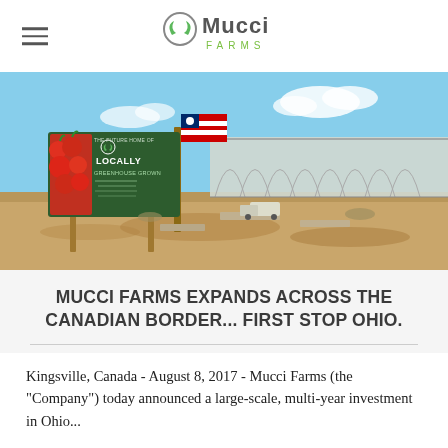Mucci Farms
[Figure (photo): Construction site of the future Mucci Farms greenhouse in Ohio. A green sign with tomatoes reads 'The Future Home of Mucci Locally Greenhouse Grown'. An Ohio state flag flies above. A large greenhouse structure frame is visible in the background on a flat dirt lot under a blue sky.]
MUCCI FARMS EXPANDS ACROSS THE CANADIAN BORDER... FIRST STOP OHIO.
Kingsville, Canada - August 8, 2017 - Mucci Farms (the "Company") today announced a large-scale, multi-year investment in Ohio...